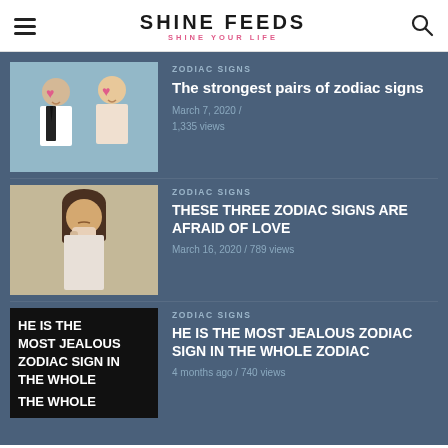SHINE FEEDS — SHINE YOUR LIFE
ZODIAC SIGNS
The strongest pairs of zodiac signs
March 7, 2020 / 1,335 views
[Figure (photo): A man and a woman each holding pink heart-shaped items over their eyes, smiling]
ZODIAC SIGNS
THESE THREE ZODIAC SIGNS ARE AFRAID OF LOVE
March 16, 2020 / 789 views
[Figure (photo): A woman with long dark hair biting her nails, looking anxious]
ZODIAC SIGNS
HE IS THE MOST JEALOUS ZODIAC SIGN IN THE WHOLE ZODIAC
4 months ago / 740 views
[Figure (photo): Black background with bold white text: HE IS THE MOST JEALOUS ZODIAC SIGN IN THE WHOLE]